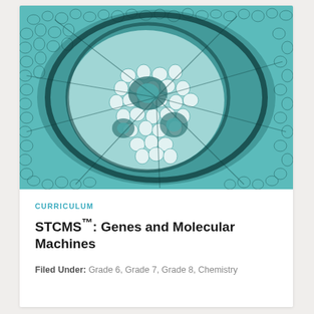[Figure (photo): Microscopic cross-section of plant tissue showing cellular structure with teal/green staining, revealing vascular bundles and organized cell patterns]
CURRICULUM
STCMS™: Genes and Molecular Machines
Filed Under: Grade 6, Grade 7, Grade 8, Chemistry